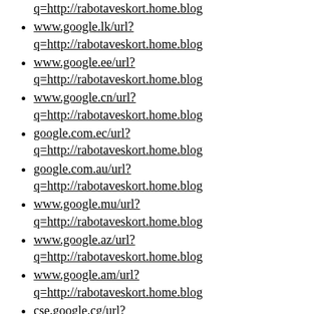q=http://rabotaveskort.home.blog
www.google.lk/url?q=http://rabotaveskort.home.blog
www.google.ee/url?q=http://rabotaveskort.home.blog
www.google.cn/url?q=http://rabotaveskort.home.blog
google.com.ec/url?q=http://rabotaveskort.home.blog
google.com.au/url?q=http://rabotaveskort.home.blog
www.google.mu/url?q=http://rabotaveskort.home.blog
www.google.az/url?q=http://rabotaveskort.home.blog
www.google.am/url?q=http://rabotaveskort.home.blog
cse.google.cg/url?q=http://rabotaveskort.home.blog